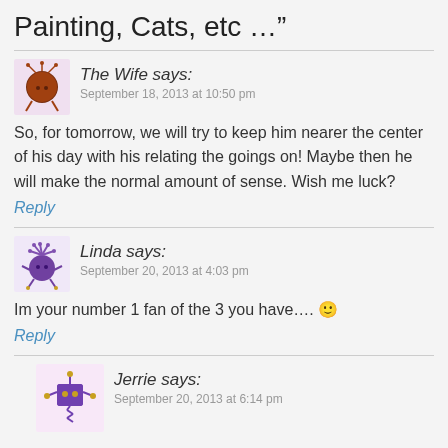Painting, Cats, etc …”
The Wife says:
September 18, 2013 at 10:50 pm
So, for tomorrow, we will try to keep him nearer the center of his day with his relating the goings on! Maybe then he will make the normal amount of sense. Wish me luck?
Reply
Linda says:
September 20, 2013 at 4:03 pm
Im your number 1 fan of the 3 you have.... 🙂
Reply
Jerrie says:
September 20, 2013 at 6:14 pm